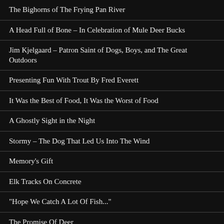The Bighorns of The Frying Pan River
A Head Full of Bone – In Celebration of Mule Deer Bucks
Jim Kjelgaard – Patron Saint of Dogs, Boys, and The Great Outdoors
Presenting Fun With Trout By Fred Everett
It Was the Best of Food, It Was the Worst of Food
A Ghostly Sight in the Night
Stormy – The Dog That Led Us Into The Wind
Memory's Gift
Elk Tracks On Concrete
“Hope We Catch A Lot Of Fish...”
The Promise Of Deer
Memories of The Giant Sea Bass, The King of The Kelp Forest
Boy (Or Should I Say Girl) Do They Grow Them Turkeys Big in